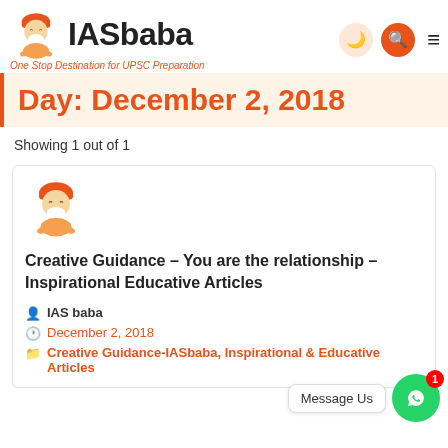IASbaba — One Stop Destination for UPSC Preparation
Day: December 2, 2018
Showing 1 out of 1
[Figure (logo): IASbaba mascot logo — cartoon sage meditating]
Creative Guidance – You are the relationship – Inspirational Educative Articles
IAS baba
December 2, 2018
Creative Guidance-IASbaba, Inspirational & Educative Articles